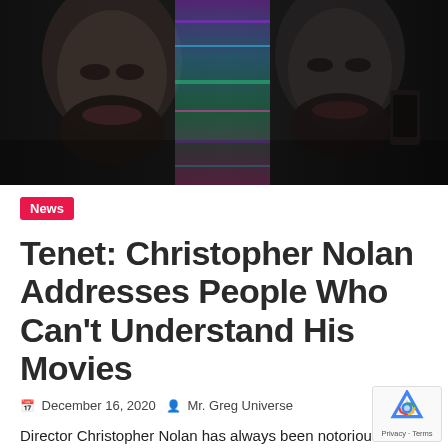[Figure (photo): Close-up artistic/stylized photo of two faces side by side with colorful glitch/light effects, dark background — promotional image for the film Tenet]
News
Tenet: Christopher Nolan Addresses People Who Can't Understand His Movies
December 16, 2020   Mr. Greg Universe
Director Christopher Nolan has always been notorious for